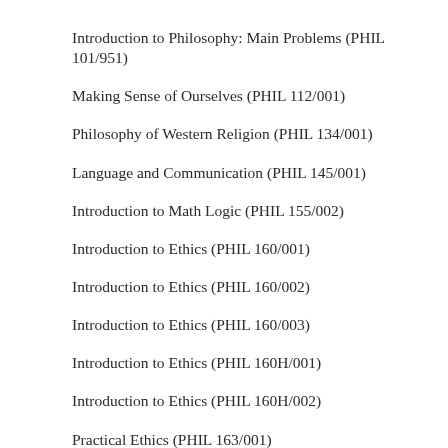Introduction to Philosophy: Main Problems (PHIL 101/951)
Making Sense of Ourselves (PHIL 112/001)
Philosophy of Western Religion (PHIL 134/001)
Language and Communication (PHIL 145/001)
Introduction to Math Logic (PHIL 155/002)
Introduction to Ethics (PHIL 160/001)
Introduction to Ethics (PHIL 160/002)
Introduction to Ethics (PHIL 160/003)
Introduction to Ethics (PHIL 160H/001)
Introduction to Ethics (PHIL 160H/002)
Practical Ethics (PHIL 163/001)